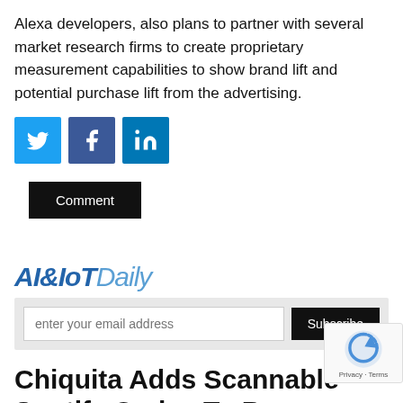Alexa developers, also plans to partner with several market research firms to create proprietary measurement capabilities to show brand lift and potential purchase lift from the advertising.
[Figure (other): Social media sharing icons: Twitter (blue bird), Facebook (dark blue f), LinkedIn (blue in)]
Comment
[Figure (logo): AI&IoT Daily logo with stylized text]
enter your email address [Subscribe button]
Chiquita Adds Scannable Spotify Codes To Bananas
by Chuck Martin , April 30, 2020